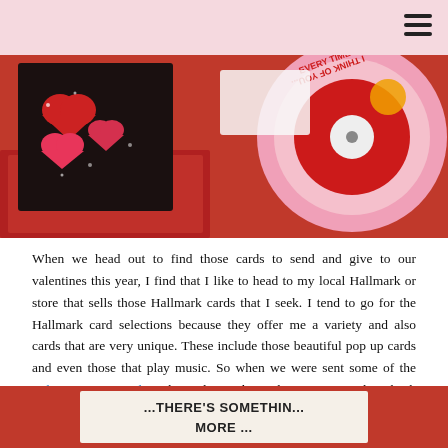[Figure (photo): Top photo of Valentine's Day cards with hearts and a vinyl record with text 'EVERY TIME I THINK OF YOU...' on pink circular sleeve, red envelopes and glittery heart cards on dark background]
When we head out to find those cards to send and give to our valentines this year, I find that I like to head to my local Hallmark or store that sells those Hallmark cards that I seek. I tend to go for the Hallmark card selections because they offer me a variety and also cards that are very unique. These include those beautiful pop up cards and even those that play music. So when we were sent some of the Valentines Day cards with vinyl records inside, I was excited to check them out and add them to the list of great last minute valentines gift ideas.
[Figure (photo): Bottom cropped photo showing a card with text '...THERE'S SOMETHING MORE...' on white/cream background with red elements]